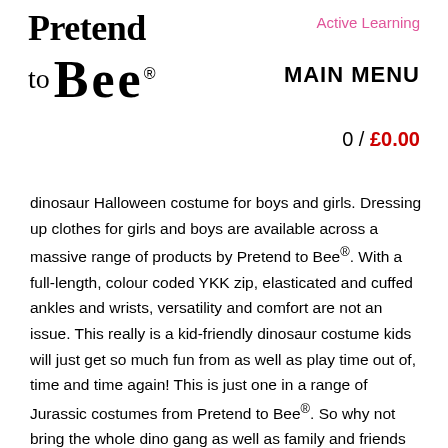[Figure (logo): Pretend to Bee logo with stylized script text]
Active Learning
MAIN MENU
0 / £0.00
dinosaur Halloween costume for boys and girls. Dressing up clothes for girls and boys are available across a massive range of products by Pretend to Bee®. With a full-length, colour coded YKK zip, elasticated and cuffed ankles and wrists, versatility and comfort are not an issue. This really is a kid-friendly dinosaur costume kids will just get so much fun from as well as play time out of, time and time again! This is just one in a range of Jurassic costumes from Pretend to Bee®. So why not bring the whole dino gang as well as family and friends together! Premium Stegosaurus Dressing Up Costumes for Kids by Pretend to Bee - Excelling in Childrens Dressing Up Clothes & Toddler